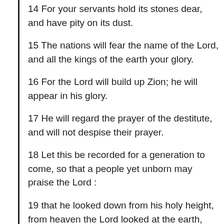14 For your servants hold its stones dear, and have pity on its dust.
15 The nations will fear the name of the Lord, and all the kings of the earth your glory.
16 For the Lord will build up Zion; he will appear in his glory.
17 He will regard the prayer of the destitute, and will not despise their prayer.
18 Let this be recorded for a generation to come, so that a people yet unborn may praise the Lord :
19 that he looked down from his holy height, from heaven the Lord looked at the earth,